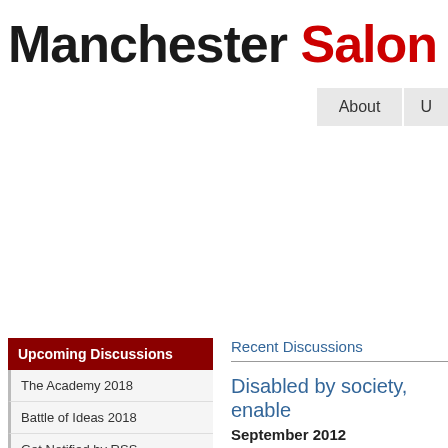Manchester Salon
engaging
About  U
Upcoming Discussions
The Academy 2018
Battle of Ideas 2018
Get Notified by RSS
Recent Discussions
Disabled by society, enable
September 2012